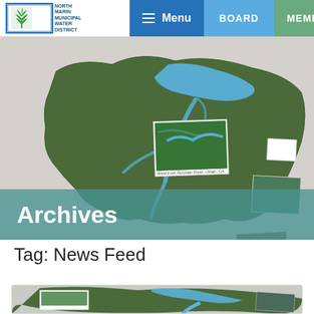Menu | BOARD | MEMBERS
[Figure (photo): Hero image showing a raised relief map of a watershed district mounted on a wall, with small photographs pinned around it showing streams and landscapes]
Archives
Tag: News Feed
[Figure (photo): Partial view of a raised relief map display showing watershed with blue waterways, similar to the hero image]